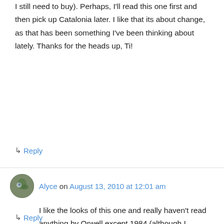I still need to buy). Perhaps, I'll read this one first and then pick up Catalonia later. I like that its about change, as that has been something I've been thinking about lately. Thanks for the heads up, Ti!
↳ Reply
Alyce on August 13, 2010 at 12:01 am
I like the looks of this one and really haven't read anything by Orwell except 1984 (although I supposedly read Animal Farm in high school, I have no recollection of it). It's fun to learn that he wrote other books that I am unfamiliar with – like finding hidden treasure.
↳ Reply